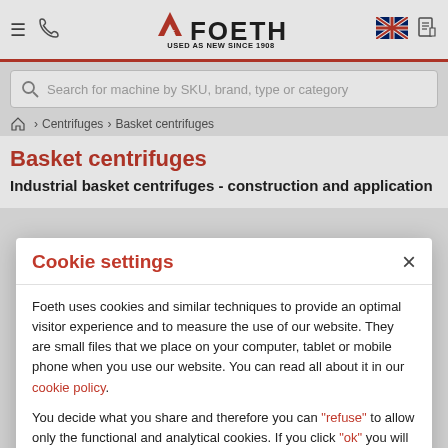AF FOETH - USED AS NEW SINCE 1908
Search for machine by SKU, brand, type or category
Home > Centrifuges > Basket centrifuges
Basket centrifuges
Industrial basket centrifuges - construction and application
Cookie settings
Foeth uses cookies and similar techniques to provide an optimal visitor experience and to measure the use of our website. They are small files that we place on your computer, tablet or mobile phone when you use our website. You can read all about it in our cookie policy.
You decide what you share and therefore you can "refuse" to allow only the functional and analytical cookies. If you click "ok" you will get the most out of our website and have the best